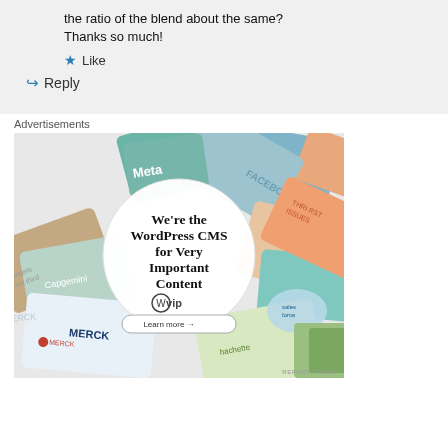the ratio of the blend about the same?
Thanks so much!
Like
Reply
Advertisements
[Figure (illustration): WordPress VIP advertisement showing a collage of brand cards (Meta, Facebook, Merck, Hachette, Salesforce, etc.) with a central white circle containing the text: We're the WordPress CMS for Very Important Content, wp vip logo, and a Learn more button.]